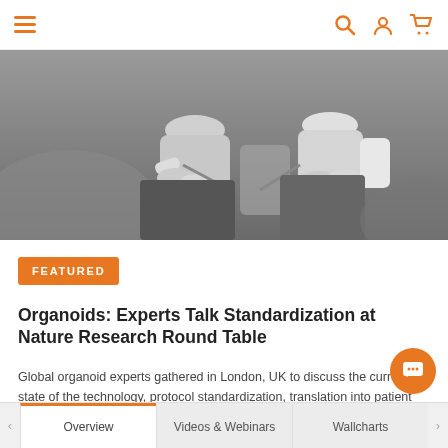Navigation bar with hamburger menu and search, user, cart icons
[Figure (photo): Black and white photo of people seated in a discussion or round table setting, showing torsos, hands, and laps]
FEATURED
Organoids: Experts Talk Standardization at Nature Research Round Table
Global organoid experts gathered in London, UK to discuss the current state of the technology, protocol standardization, translation into patient care, nomenclature, and understanding what questions a given organoid culture can and can't answer.
Read Now >
Overview | Videos & Webinars | Wallcharts